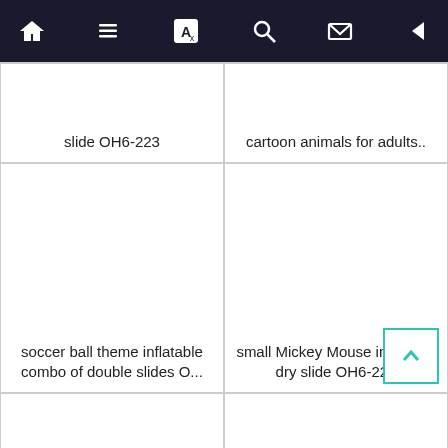[Figure (screenshot): Mobile app navigation bar with home, list, translate, search, mail, and back arrow icons on dark background]
slide OH6-223
cartoon animals for adults..
[Figure (photo): Empty product image card for soccer ball theme inflatable combo of double slides]
soccer ball theme inflatable combo of double slides O...
[Figure (photo): Empty product image card for small Mickey Mouse inflatable dry slide OH6-220]
small Mickey Mouse inflatable dry slide OH6-220
[Figure (other): Back to top button overlay — teal bordered square with upward chevron]
[Figure (photo): Empty product image card (bottom left)]
[Figure (photo): Empty product image card (bottom right)]